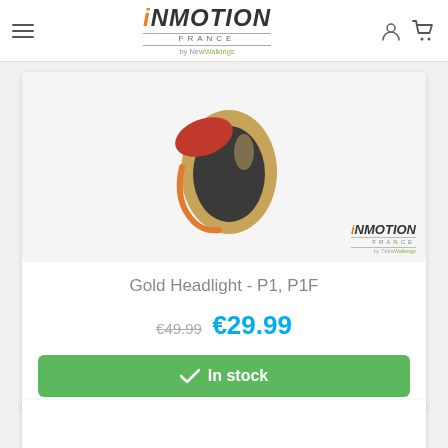INMOTION FRANCE by NewWalkings — navigation bar with hamburger menu, logo, user icon, cart icon
[Figure (photo): Gold headlight accessory product photo for Inmotion P1/P1F, gold oval device with orange and black accents, shown on light background with Inmotion France watermark logo]
Gold Headlight - P1, P1F
€49.99  €29.99
✓  In stock
[Figure (photo): Second product card, image area blank/white (product image not fully visible)]